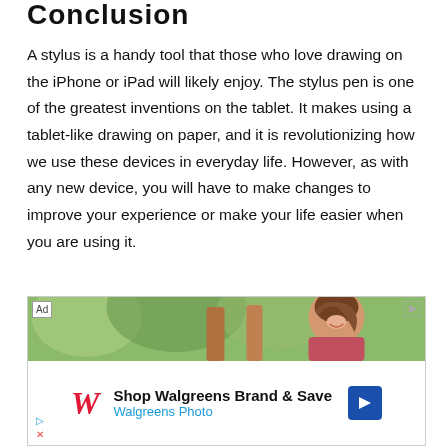Conclusion
A stylus is a handy tool that those who love drawing on the iPhone or iPad will likely enjoy. The stylus pen is one of the greatest inventions on the tablet. It makes using a tablet-like drawing on paper, and it is revolutionizing how we use these devices in everyday life. However, as with any new device, you will have to make changes to improve your experience or make your life easier when you are using it.
[Figure (photo): Advertisement banner showing a smiling woman outdoors with Walgreens Photo branding — 'Shop Walgreens Brand & Save / Walgreens Photo']